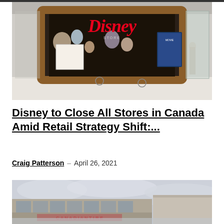[Figure (photo): Disney Store front in a mall with red Disney logo sign and wooden frame entrance, merchandise visible inside]
Disney to Close All Stores in Canada Amid Retail Strategy Shift:...
Craig Patterson – April 26, 2021
[Figure (photo): Exterior of a large retail building with glass facade and overcast sky, partially visible signage]